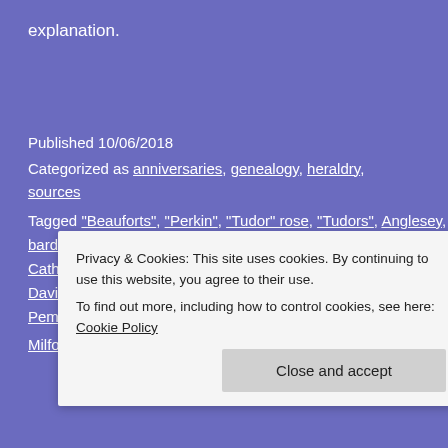explanation.
Published 10/06/2018
Categorized as anniversaries, genealogy, heraldry, sources
Tagged "Beauforts", "Perkin", "Tudor" rose, "Tudors", Anglesey, bardic tradition, Bible translators, Cadwallader, Carmarthen, Catherine de Valois, Clifford Davies, coinage, Colchester, David Hume, Dissolution of the Monasteries, Earl of Pembroke, Earl of Richmond, Edmund "Tudor"
Privacy & Cookies: This site uses cookies. By continuing to use this website, you agree to their use. To find out more, including how to control cookies, see here: Cookie Policy
Milford Haven, Mortimers, Owain Tudor, papal bull,